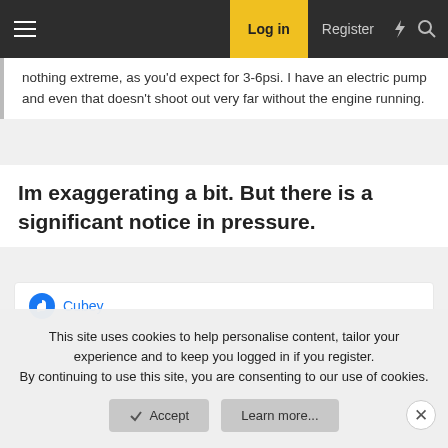Log in | Register
nothing extreme, as you'd expect for 3-6psi. I have an electric pump and even that doesn't shoot out very far without the engine running.
Im exaggerating a bit. But there is a significant notice in pressure.
Cubey
This site uses cookies to help personalise content, tailor your experience and to keep you logged in if you register. By continuing to use this site, you are consenting to our use of cookies.
Accept | Learn more...